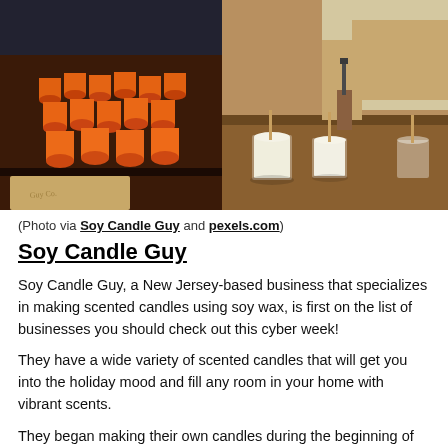[Figure (photo): Two side-by-side photos: left shows multiple orange-colored candle jars arranged on a surface; right shows a person pouring wax into glass candle containers on a table.]
(Photo via Soy Candle Guy and pexels.com)
Soy Candle Guy
Soy Candle Guy, a New Jersey-based business that specializes in making scented candles using soy wax, is first on the list of businesses you should check out this cyber week!
They have a wide variety of scented candles that will get you into the holiday mood and fill any room in your home with vibrant scents.
They began making their own candles during the beginning of the